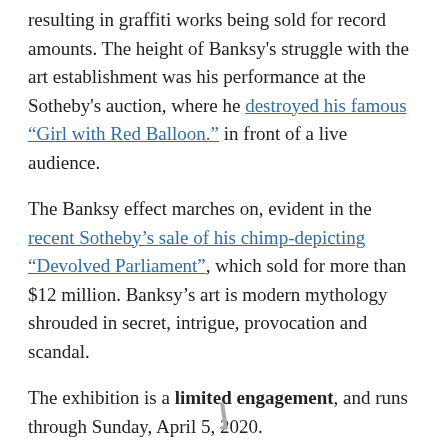resulting in graffiti works being sold for record amounts. The height of Banksy's struggle with the art establishment was his performance at the Sotheby's auction, where he destroyed his famous “Girl with Red Balloon.” in front of a live audience.
The Banksy effect marches on, evident in the recent Sotheby’s sale of his chimp-depicting “Devolved Parliament”, which sold for more than $12 million. Banksy’s art is modern mythology shrouded in secret, intrigue, provocation and scandal.
The exhibition is a limited engagement, and runs through Sunday, April 5, 2020.